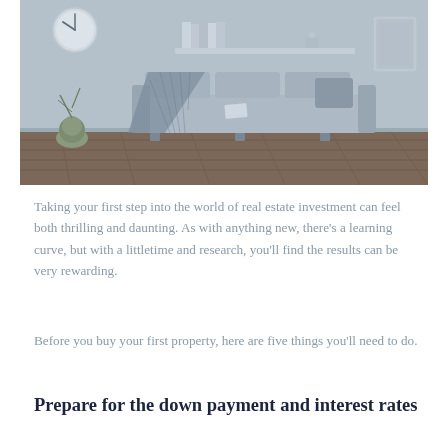[Figure (photo): Interior photo of a modern living room with a grey sofa, decorative pillows, a striped throw blanket, wall clock, floating shelf with books, and hardwood floor. Cool blue-grey tones.]
Taking your first step into the world of real estate investment can feel both thrilling and daunting. As with anything new, there’s a learning curve, but with a littletime and research, you’ll find the results can be very rewarding.
Before you buy your first property, here are five things you’ll need to do.
Prepare for the down payment and interest rates